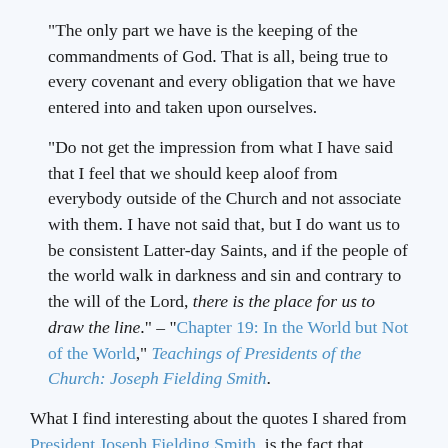"The only part we have is the keeping of the commandments of God. That is all, being true to every covenant and every obligation that we have entered into and taken upon ourselves.
"Do not get the impression from what I have said that I feel that we should keep aloof from everybody outside of the Church and not associate with them. I have not said that, but I do want us to be consistent Latter-day Saints, and if the people of the world walk in darkness and sin and contrary to the will of the Lord, there is the place for us to draw the line." – "Chapter 19: In the World but Not of the World," Teachings of Presidents of the Church: Joseph Fielding Smith.
What I find interesting about the quotes I shared from President Joseph Fielding Smith, is the fact that, yesterday morning, I mistakenly thought the Church's 2015 curriculum has us studying President Smith—even though I subconsciously knew full well that we are studying President Benson! (Because I'm the first